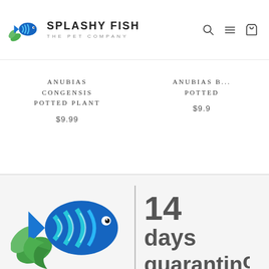SPLASHY FISH THE PET COMPANY
ANUBIAS CONGENSIS POTTED PLANT $9.99
ANUBIAS ... POTTED $9.99
[Figure (logo): Splashy Fish logo with large fish and text: 14 days quarantine]
14 days quarantine